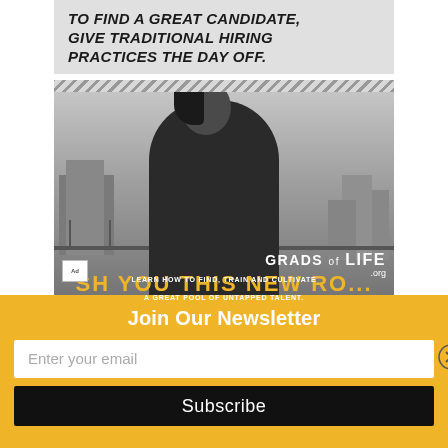[Figure (photo): Black and white advertisement for GradsofLife.org showing a young woman standing on a rooftop with city buildings in the background. The ad headline reads 'TO FIND A GREAT CANDIDATE, GIVE TRADITIONAL HIRING PRACTICES THE DAY OFF.' with a diagonal stripe separator. Bottom overlay shows the GRADS of LIFE .org logo and tagline 'LEARN HOW TO FIND, TRAIN AND CULTIVATE A GREAT POOL OF UNTAPPED TALENT.' An Ad Council badge appears in the lower left.]
Join Our Newsletter
Enter your email
Subscribe